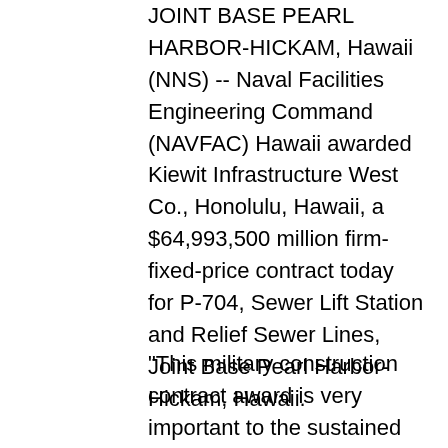JOINT BASE PEARL HARBOR-HICKAM, Hawaii (NNS) -- Naval Facilities Engineering Command (NAVFAC) Hawaii awarded Kiewit Infrastructure West Co., Honolulu, Hawaii, a $64,993,500 million firm-fixed-price contract today for P-704, Sewer Lift Station and Relief Sewer Lines, Joint Base Pearl Harbor-Hickam, Hawaii.
"This military construction contract award is very important to the sustained operations of